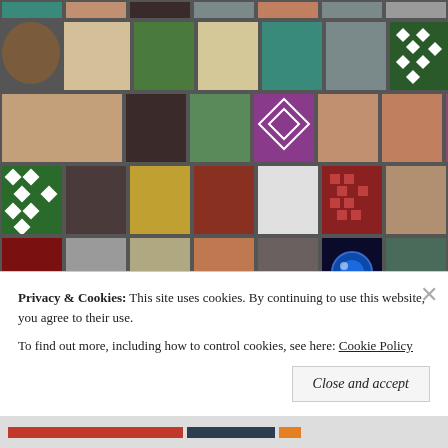[Figure (photo): Grid of thumbnail profile photos and avatar images on a dark gray background, showing various people, illustrations, and decorative patterns arranged in rows of 7 images each.]
Privacy & Cookies:  This site uses cookies. By continuing to use this website, you agree to their use.
To find out more, including how to control cookies, see here: Cookie Policy
Close and accept